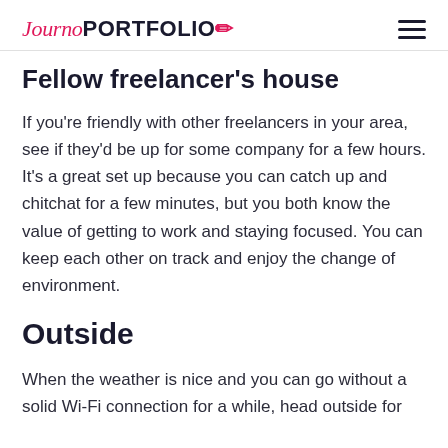JournoPORTFOLIO
Fellow freelancer's house
If you're friendly with other freelancers in your area, see if they'd be up for some company for a few hours. It's a great set up because you can catch up and chitchat for a few minutes, but you both know the value of getting to work and staying focused. You can keep each other on track and enjoy the change of environment.
Outside
When the weather is nice and you can go without a solid Wi-Fi connection for a while, head outside for